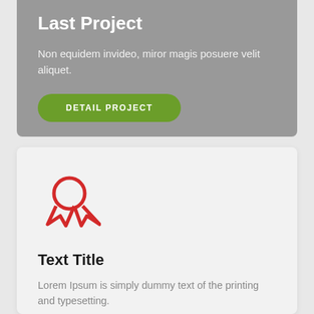Last Project
Non equidem invideo, miror magis posuere velit aliquet.
DETAIL PROJECT
[Figure (illustration): Red award ribbon / badge icon — a circle on top with two ribbon tails pointing downward, all in red outline style]
Text Title
Lorem Ipsum is simply dummy text of the printing and typesetting.
READ MORE